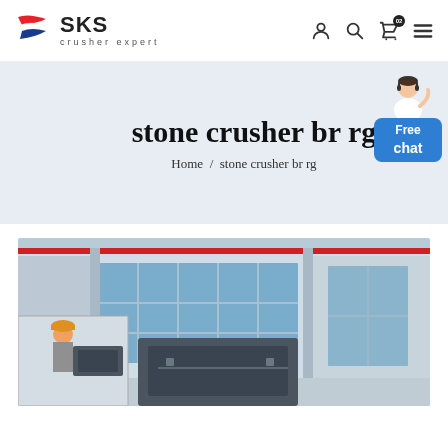[Figure (logo): SKS crusher expert logo with stylized flag/blade icon in red, white, blue]
[Figure (screenshot): Navigation icons: user, search, cart (badge 02), hamburger menu]
stone crusher br rg
Home / stone crusher br rg
[Figure (photo): Free chat button with customer service representative illustration]
[Figure (photo): Industrial factory/warehouse building exterior with worker in hard hat in inset photo and stone crusher machine in foreground]